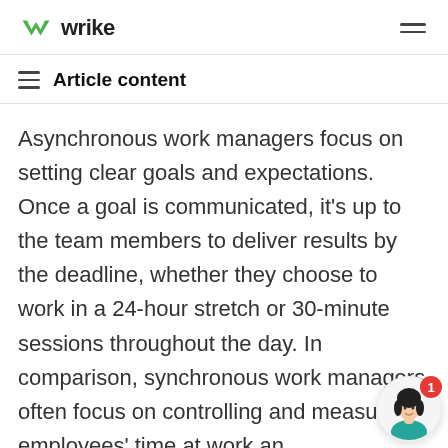wrike
Article content
Asynchronous work managers focus on setting clear goals and expectations. Once a goal is communicated, it's up to the team members to deliver results by the deadline, whether they choose to work in a 24-hour stretch or 30-minute sessions throughout the day. In comparison, synchronous work managers often focus on controlling and measuring employees' time at work and productivity/daily activity.